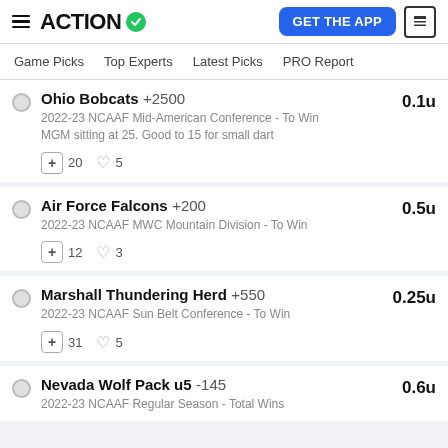ACTION — GET THE APP
Game Picks | Top Experts | Latest Picks | PRO Report
Ohio Bobcats +2500 — 2022-23 NCAAF Mid-American Conference - To Win — MGM sitting at 25. Good to 15 for small dart — 20 reposts, 5 likes — 0.1u
Air Force Falcons +200 — 2022-23 NCAAF MWC Mountain Division - To Win — 12 reposts, 3 likes — 0.5u
Marshall Thundering Herd +550 — 2022-23 NCAAF Sun Belt Conference - To Win — 31 reposts, 5 likes — 0.25u
Nevada Wolf Pack u5 -145 — 2022-23 NCAAF Regular Season - Total Wins — 0.6u